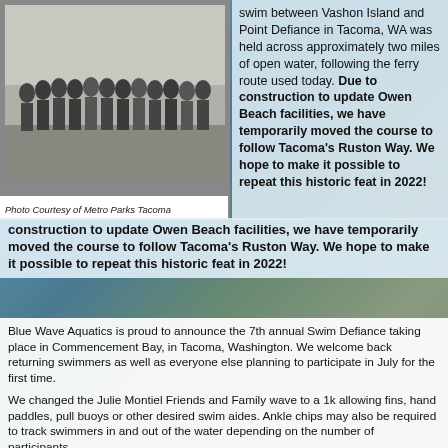[Figure (photo): Historical black and white photograph of a group of swimmers standing together, wearing old-fashioned swimwear, outdoors on a beach or field.]
Photo Courtesy of Metro Parks Tacoma
swim between Vashon Island and Point Defiance in Tacoma, WA was held across approximately two miles of open water, following the ferry route used today. Due to construction to update Owen Beach facilities, we have temporarily moved the course to follow Tacoma's Ruston Way. We hope to make it possible to repeat this historic feat in 2022!
Blue Wave Aquatics is proud to announce the 7th annual Swim Defiance taking place in Commencement Bay, in Tacoma, Washington. We welcome back returning swimmers as well as everyone else planning to participate in July for the first time.
We changed the Julie Montiel Friends and Family wave to a 1k allowing fins, hand paddles, pull buoys or other desired swim aides. Ankle chips may also be required to track swimmers in and out of the water depending on the number of participants.
2021 Swim Defiance offers a 1K, 3K and 5K event; participants for each events will receive the following: